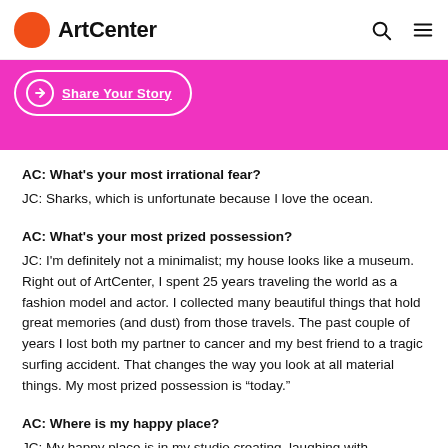ArtCenter
[Figure (logo): ArtCenter logo with orange circle and bold text]
Share Your Story
AC: What's your most irrational fear?
JC: Sharks, which is unfortunate because I love the ocean.
AC: What's your most prized possession?
JC: I'm definitely not a minimalist; my house looks like a museum. Right out of ArtCenter, I spent 25 years traveling the world as a fashion model and actor. I collected many beautiful things that hold great memories (and dust) from those travels. The past couple of years I lost both my partner to cancer and my best friend to a tragic surfing accident. That changes the way you look at all material things. My most prized possession is “today.”
AC: Where is my happy place?
JC: My happy place is in my studio creating, laughing with